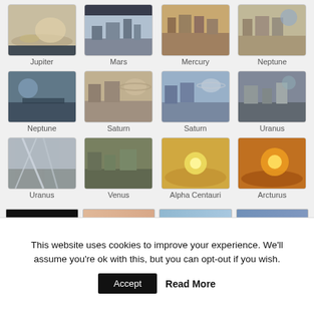[Figure (photo): Grid of planetary/space photo thumbnails with labels. Row 1: Jupiter, Mars, Mercury, Neptune. Row 2: Neptune, Saturn, Saturn, Uranus. Row 3: Uranus, Venus, Alpha Centauri, Arcturus. Row 4 (partial): four partially visible thumbnails.]
This website uses cookies to improve your experience. We'll assume you're ok with this, but you can opt-out if you wish.
Accept   Read More